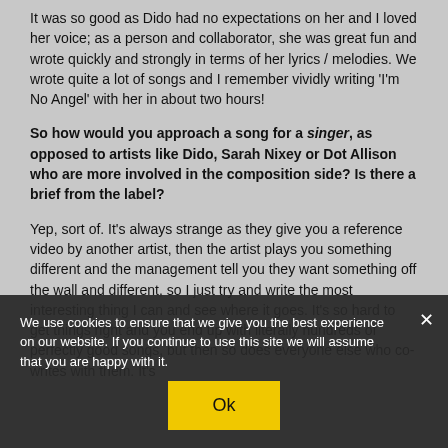It was so good as Dido had no expectations on her and I loved her voice; as a person and collaborator, she was great fun and wrote quickly and strongly in terms of her lyrics / melodies. We wrote quite a lot of songs and I remember vividly writing 'I'm No Angel' with her in about two hours!
So how would you approach a song for a singer, as opposed to artists like Dido, Sarah Nixey or Dot Allison who are more involved in the composition side? Is there a brief from the label?
Yep, sort of. It's always strange as they give you a reference video by another artist, then the artist plays you something different and the management tell you they want something off the wall and different, so I just try and write the most interesting thing I can and see where it goes. It's so hard to get these things right and you end up with literally hundreds of perfectly good songs, but then so does everyone else who co-writes with them. It's
We use cookies to ensure that we give you the best experience on our website. If you continue to use this site we will assume that you are happy with it.
Ok